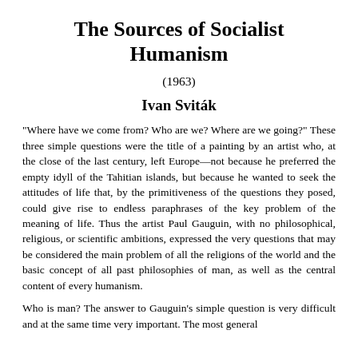The Sources of Socialist Humanism
(1963)
Ivan Sviták
"Where have we come from? Who are we? Where are we going?" These three simple questions were the title of a painting by an artist who, at the close of the last century, left Europe—not because he preferred the empty idyll of the Tahitian islands, but because he wanted to seek the attitudes of life that, by the primitiveness of the questions they posed, could give rise to endless paraphrases of the key problem of the meaning of life. Thus the artist Paul Gauguin, with no philosophical, religious, or scientific ambitions, expressed the very questions that may be considered the main problem of all the religions of the world and the basic concept of all past philosophies of man, as well as the central content of every humanism.
Who is man? The answer to Gauguin's simple question is very difficult and at the same time very important. The most general